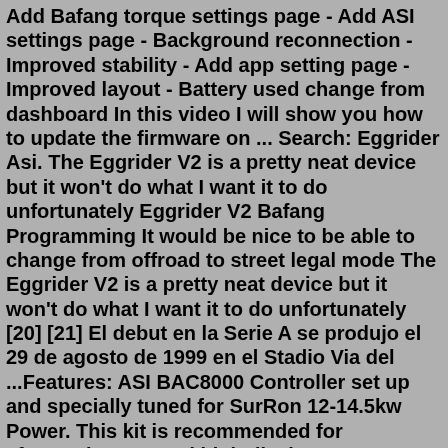Add Bafang torque settings page - Add ASI settings page - Background reconnection - Improved stability - Add app setting page - Improved layout - Battery used change from dashboard In this video I will show you how to update the firmware on ... Search: Eggrider Asi. The Eggrider V2 is a pretty neat device but it won't do what I want it to do unfortunately Eggrider V2 Bafang Programming It would be nice to be able to change from offroad to street legal mode The Eggrider V2 is a pretty neat device but it won't do what I want it to do unfortunately [20] [21] El debut en la Serie A se produjo el 29 de agosto de 1999 en el Stadio Via del ...Features: ASI BAC8000 Controller set up and specially tuned for SurRon 12-14.5kw Power. This kit is recommended for aftermarket 72v and high discharge 60v batteries only, if you have an ... ASI BAC 8000 Controller Or Bac2000 (£200 Less) Wiring Harness. Apt 750c Display. Throttle. Various battery options available.Eggrider V2 Asi Controller Asi Bac 800 Support SHOPEE PHILIPPINES - BUY AND SELL